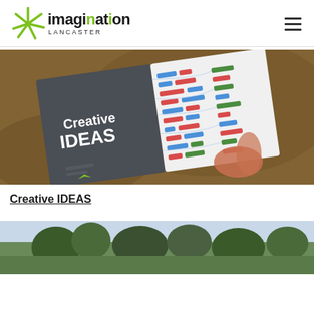Imagination Lancaster
[Figure (photo): A hand holding a booklet titled 'Creative IDEAS' with colourful bar chart data visualisations on the right half, set against a brown blurred background.]
Creative IDEAS
[Figure (photo): Partial view of a landscape photo showing trees against a sky, cropped at the bottom of the page.]